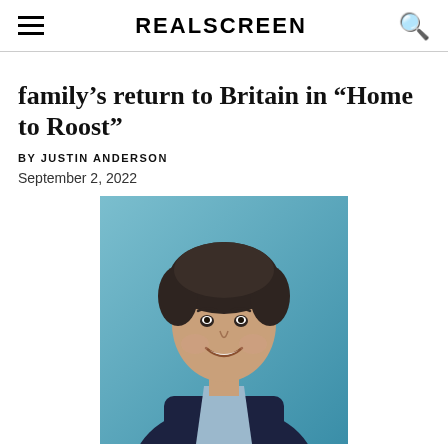REALSCREEN
family’s return to Britain in “Home to Roost”
BY JUSTIN ANDERSON
September 2, 2022
[Figure (photo): Headshot of a smiling man with dark hair, wearing a dark suit jacket and light blue shirt, against a teal/turquoise background]